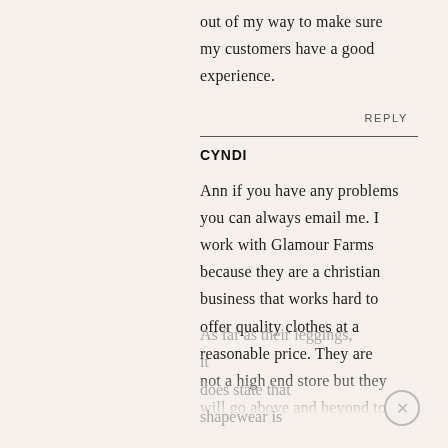out of my way to make sure my customers have a good experience.
REPLY
CYNDI
Ann if you have any problems you can always email me. I work with Glamour Farms because they are a christian business that works hard to offer quality clothes at a reasonable price. They are not a high end store but they will go above and beyond to work with my readers. As far as their leggings, it does state that shapewear is